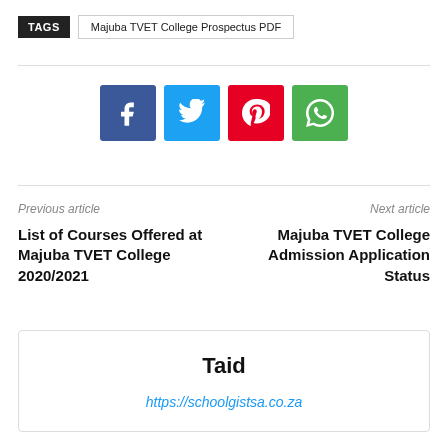TAGS  Majuba TVET College Prospectus PDF
[Figure (infographic): Social media share buttons: Facebook (blue), Twitter (light blue), Pinterest (red), WhatsApp (green)]
Previous article
Next article
List of Courses Offered at Majuba TVET College 2020/2021
Majuba TVET College Admission Application Status
Taid
https://schoolgistsa.co.za